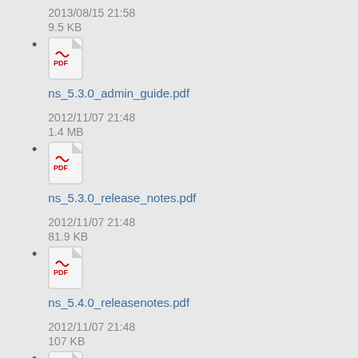2013/08/15 21:58
9.5 KB
ns_5.3.0_admin_guide.pdf
2012/11/07 21:48
1.4 MB
ns_5.3.0_release_notes.pdf
2012/11/07 21:48
81.9 KB
ns_5.4.0_releasenotes.pdf
2012/11/07 21:48
107 KB
(partial)